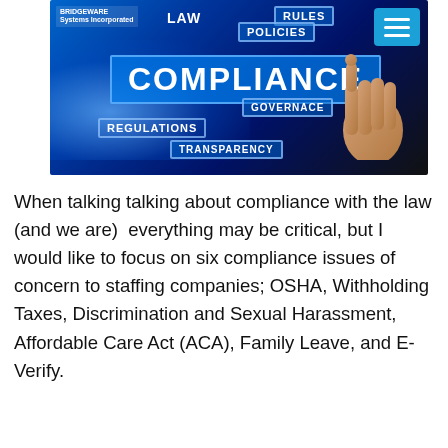[Figure (photo): Compliance concept image showing a hand pointing at a glowing touchscreen with labels: LAW, RULES, POLICIES, COMPLIANCE, GOVERNACE, REGULATIONS, TRANSPARENCY. Bridgeware Systems Incorporated logo in top left. Blue digital background.]
When talking talking about compliance with the law (and we are)  everything may be critical, but I would like to focus on six compliance issues of concern to staffing companies; OSHA, Withholding Taxes, Discrimination and Sexual Harassment, Affordable Care Act (ACA), Family Leave, and E-Verify.
We will briefly cover each one giving you...